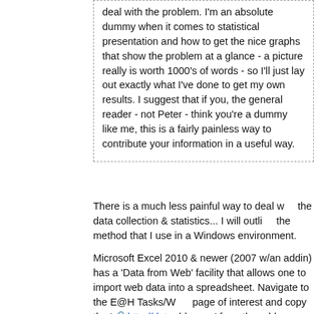deal with the problem. I'm an absolute dummy when it comes to statistical presentation and how to get the nice graphs that show the problem at a glance - a picture really is worth 1000's of words - so I'll just lay out exactly what I've done to get my own results. I suggest that if you, the general reader - not Peter - think you're a dummy like me, this is a fairly painless way to contribute your information in a useful way.
There is a much less painful way to deal with the data collection & statistics... I will outline the method that I use in a Windows environment.
Microsoft Excel 2010 & newer (2007 w/an addin) has a 'Data from Web' facility that allows one to import web data into a spreadsheet. Navigate to the E@H Tasks/Work page of interest and copy the 'http://dat address...' from the address bar. Click on a...